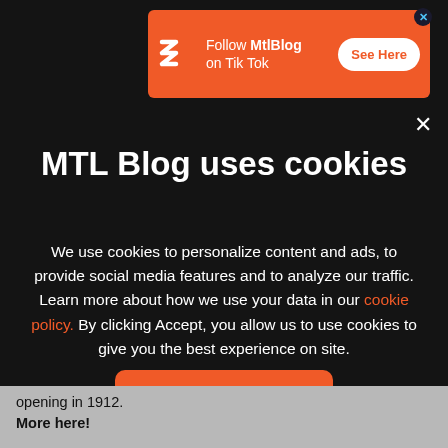[Figure (screenshot): Orange TikTok advertisement banner for MtlBlog with logo, text 'Follow MtlBlog on Tik Tok', and a white 'See Here' button]
MTL Blog uses cookies
We use cookies to personalize content and ads, to provide social media features and to analyze our traffic. Learn more about how we use your data in our cookie policy. By clicking Accept, you allow us to use cookies to give you the best experience on site.
Accept
opening in 1912.
More here!